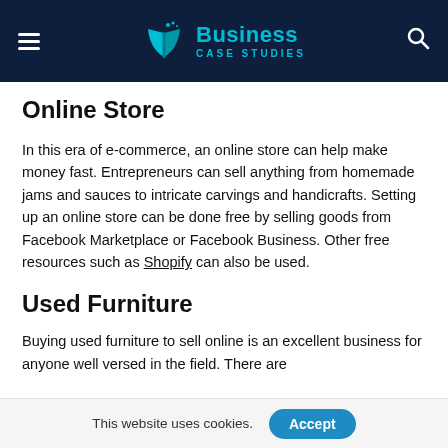Business Case Studies
Online Store
In this era of e-commerce, an online store can help make money fast. Entrepreneurs can sell anything from homemade jams and sauces to intricate carvings and handicrafts. Setting up an online store can be done free by selling goods from Facebook Marketplace or Facebook Business. Other free resources such as Shopify can also be used.
Used Furniture
Buying used furniture to sell online is an excellent business for anyone well versed in the field. There are
This website uses cookies.